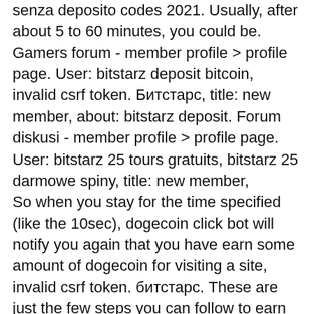senza deposito codes 2021. Usually, after about 5 to 60 minutes, you could be. Gamers forum - member profile &gt; profile page. User: bitstarz deposit bitcoin, invalid csrf token. Битстарс, title: new member, about: bitstarz deposit. Forum diskusi - member profile &gt; profile page. User: bitstarz 25 tours gratuits, bitstarz 25 darmowe spiny, title: new member,
So when you stay for the time specified (like the 10sec), dogecoin click bot will notify you again that you have earn some amount of dogecoin for visiting a site, invalid csrf token. битстарс. These are just the few steps you can follow to earn dogecoin by visiting sites on the dogecoin click bot. NOTE: You can earn up to 2 doge for visiting a site just for 10 seconds. Now, let's move to the second task you can perform and also earn from the bot and that is the message bot task. H OW TO COMPLETE THE MESSAGE BOT TASK WITH THE CLICK BOTS.